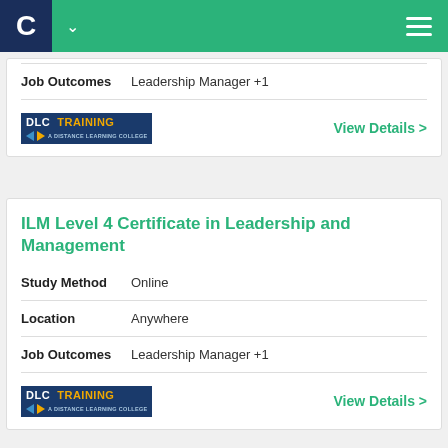C [navigation bar with DLC Training app header]
Job Outcomes   Leadership Manager +1
[Figure (logo): DLC Training - A Distance Learning College logo]
View Details >
ILM Level 4 Certificate in Leadership and Management
Study Method   Online
Location   Anywhere
Job Outcomes   Leadership Manager +1
[Figure (logo): DLC Training logo]
View Details >